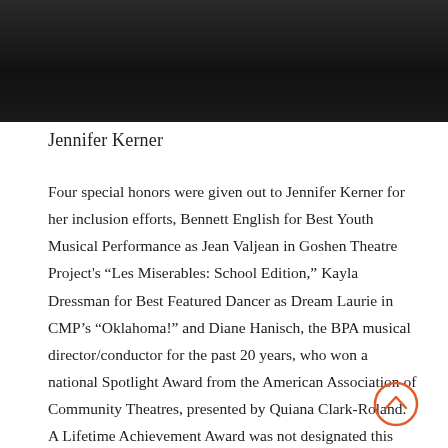[Figure (photo): Partial photo of a person wearing dark clothing, outdoor background]
Jennifer Kerner
Four special honors were given out to Jennifer Kerner for her inclusion efforts, Bennett English for Best Youth Musical Performance as Jean Valjean in Goshen Theatre Project's “Les Miserables: School Edition,” Kayla Dressman for Best Featured Dancer as Dream Laurie in CMP’s “Oklahoma!” and Diane Hanisch, the BPA musical director/conductor for the past 20 years, who won a national Spotlight Award from the American Association of Community Theatres, presented by Quiana Clark-Roland. A Lifetime Achievement Award was not designated this year.